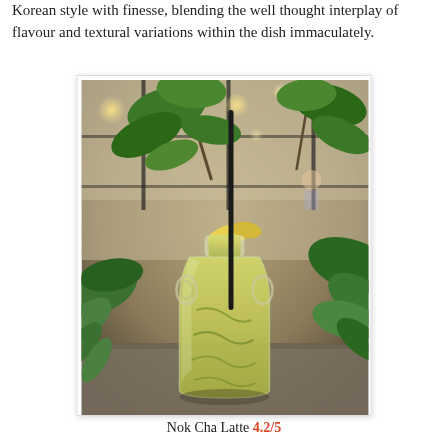Korean style with finesse, blending the well thought interplay of flavour and textural variations within the dish immaculately.
[Figure (photo): A glass bottle filled with green matcha latte (Nok Cha Latte) with a black straw and garnish, set on a table in a cafe surrounded by tropical plants, with bokeh lights in the background.]
Nok Cha Latte 4.2/5